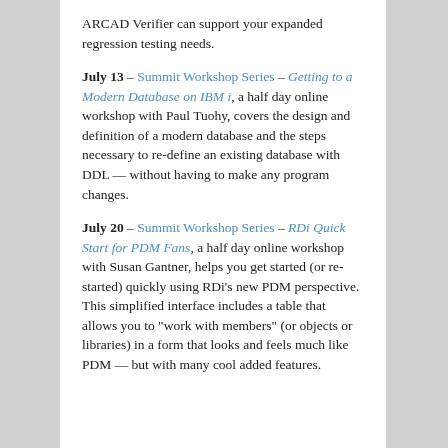ARCAD Verifier can support your expanded regression testing needs.
July 13 – Summit Workshop Series – Getting to a Modern Database on IBM i, a half day online workshop with Paul Tuohy, covers the design and definition of a modern database and the steps necessary to re-define an existing database with DDL — without having to make any program changes.
July 20 – Summit Workshop Series – RDi Quick Start for PDM Fans, a half day online workshop with Susan Gantner, helps you get started (or re-started) quickly using RDi's new PDM perspective. This simplified interface includes a table that allows you to "work with members" (or objects or libraries) in a form that looks and feels much like PDM — but with many cool added features.